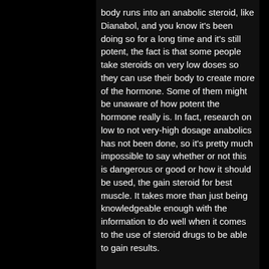body runs into an anabolic steroid, like Dianabol, and you know it's been doing so for a long time and it's still potent, the fact is that some people take steroids on very low doses so they can use their body to create more of the hormone. Some of them might be unaware of how potent the hormone really is. In fact, research on low to not very-high dosage anabolics has not been done, so it's pretty much impossible to say whether or not this is dangerous or good or how it should be used, the gain steroid for best muscle. It takes more than just being knowledgeable enough with the information to do well when it comes to the use of steroid drugs to be able to gain results.
undefined
Similar articles: